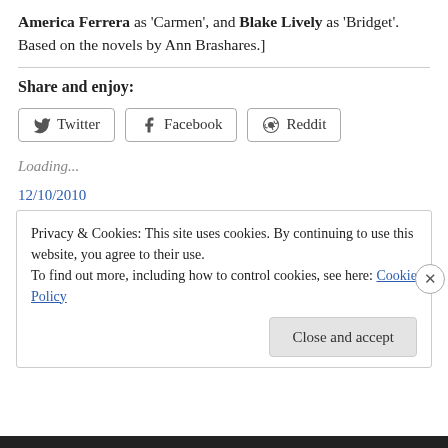America Ferrera as 'Carmen', and Blake Lively as 'Bridget'. Based on the novels by Ann Brashares.]
Share and enjoy:
[Figure (other): Share buttons row: Twitter, Facebook, Reddit]
Loading...
12/10/2010
Privacy & Cookies: This site uses cookies. By continuing to use this website, you agree to their use. To find out more, including how to control cookies, see here: Cookie Policy
Close and accept